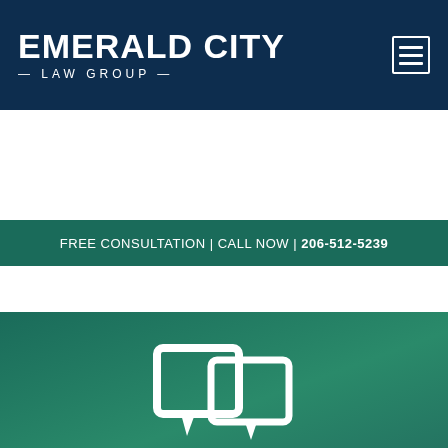EMERALD CITY LAW GROUP
FREE CONSULTATION | CALL NOW | 206-512-5239
[Figure (illustration): White speech bubble / consultation icon on teal-green gradient background]
To learn more about how the attorneys at Emerald City Law Group can help, contact us today for a free consultation.